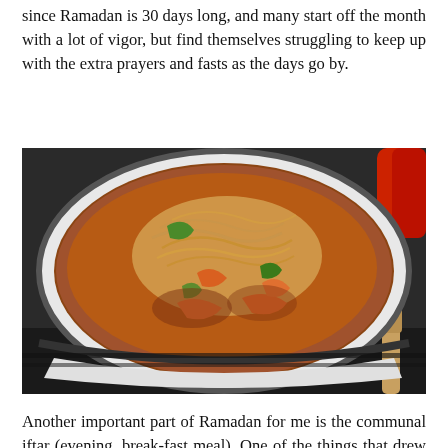since Ramadan is 30 days long, and many start off the month with a lot of vigor, but find themselves struggling to keep up with the extra prayers and fasts as the days go by.
[Figure (photo): A large white pot on a stove containing a stew or soup with noodles, carrots, green bell peppers, and other vegetables in a tomato-based broth. A wooden spoon is visible on the right side, and a red pot handle is visible at the top right.]
Another important part of Ramadan for me is the communal iftar (evening, break-fast meal). One of the things that drew me to Islam as a child and again as a college student, is the community